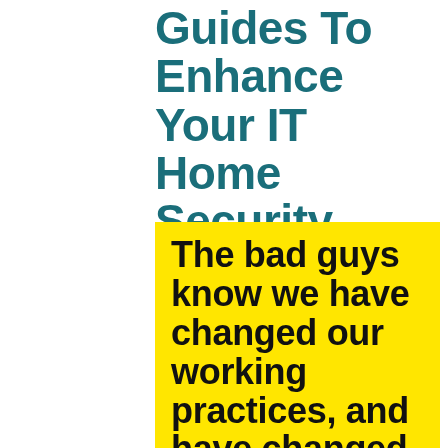Guides To Enhance Your IT Home Security
The bad guys know we have changed our working practices, and have changed theirs too!